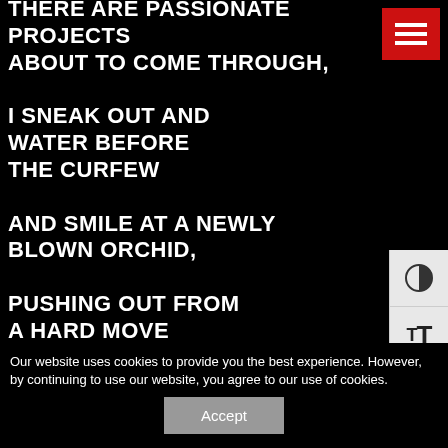THERE ARE PASSIONATE PROJECTS ABOUT TO COME THROUGH, I SNEAK OUT AND WATER BEFORE THE CURFEW AND SMILE AT A NEWLY BLOWN ORCHID, PUSHING OUT FROM A HARD MOVE AND A NEW POT, THERE WILL BE
[Figure (screenshot): Red hamburger menu button (three white horizontal lines on red background) in top right corner]
[Figure (screenshot): Accessibility panel on right side with contrast toggle (half circle icon) and text size toggle (tT icon) on grey background]
Our website uses cookies to provide you the best experience. However, by continuing to use our website, you agree to our use of cookies.
Accept